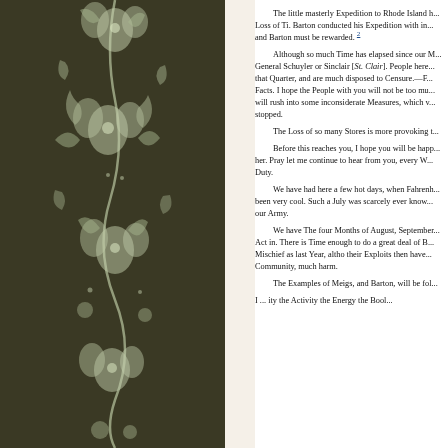[Figure (illustration): Decorative dark olive/brown background with white floral and paisley pattern forming a border on the left side of the page]
The little masterly Expedition to Rhode Island h... Loss of Ti. Barton conducted his Expedition with in... and Barton must be rewarded. 2

Although so much Time has elapsed since our M... General Schuyler or Sinclair [St. Clair]. People here... that Quarter, and are much disposed to Censure.—F... Facts. I hope the People with you will not be too mu... will rush into some inconsiderate Measures, which v... stopped.

The Loss of so many Stores is more provoking t...

Before this reaches you, I hope you will be happ... her. Pray let me continue to hear from you, every W... Duty.

We have had here a few hot days, when Fahrenh... been very cool. Such a July was scarcely ever know... our Army.

We have The four Months of August, September... Act in. There is Time enough to do a great deal of B... Mischief as last Year, altho their Exploits then have... Community, much harm.

The Examples of Meigs, and Barton, will be fol...